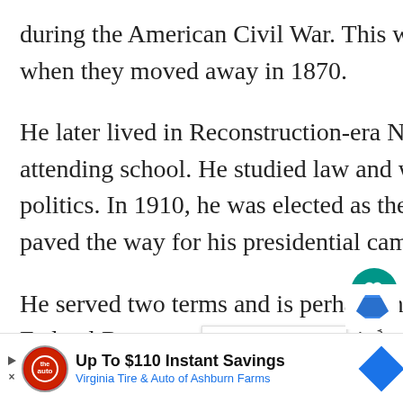during the American Civil War. This would greatly affect his life, even when they moved away in 1870.
He later lived in Reconstruction-era North and South Carolinas before attending school. He studied law and worked as a lecturer before entering politics. In 1910, he was elected as the governor of New Jersey, which paved the way for his presidential campaign in 1912.
He served two terms and is perhaps most well-known for establishing the Federal Reserve, antitrust legislation, and his peace efforts during World War I.
[Figure (screenshot): Advertisement bar at bottom: 'Up To $110 Instant Savings - Virginia Tire & Auto of Ashburn Farms' with Tire Auto logo and blue navigation diamond icon]